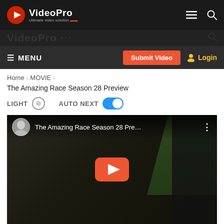VideoPro - Ultimate video solution
MENU   Submit Video   Login
Home > MOVIE > The Amazing Race Season 28 Preview
The Amazing Race Season 28 Preview
LIGHT   AUTO NEXT (ON)
[Figure (screenshot): YouTube-style video thumbnail showing two young men sitting in a car. The video title reads 'The Amazing Race Season 28 Pre...' with a YouTube play button overlay in the center. A channel avatar appears in the top left corner.]